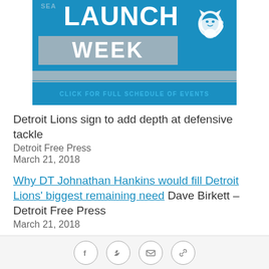[Figure (illustration): Detroit Lions Season Launch Week promotional banner in blue with lion logo and text 'CLICK FOR FULL SCHEDULE OF EVENTS']
Detroit Lions sign to add depth at defensive tackle
Detroit Free Press
March 21, 2018
Why DT Johnathan Hankins would fill Detroit Lions' biggest remaining need Dave Birkett – Detroit Free Press
March 21, 2018
Detroit Lions sign tight end Luke Willson to 1-year deal
Social share buttons: Facebook, Twitter, Email, Link